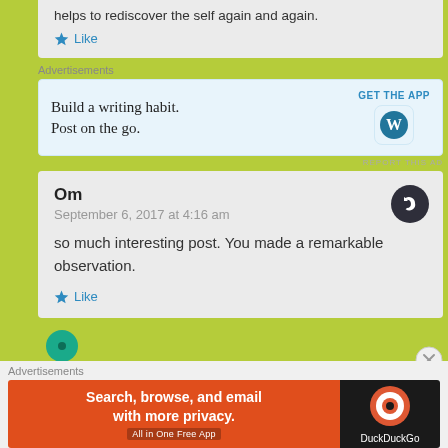helps to rediscover the self again and again.
Like
Advertisements
[Figure (infographic): WordPress app advertisement: 'Build a writing habit. Post on the go.' with GET THE APP button and WordPress logo]
REPORT THIS AD
Om
September 6, 2017 at 4:16 am
so much interesting post. You made a remarkable observation.
Like
Advertisements
[Figure (infographic): DuckDuckGo advertisement: 'Search, browse, and email with more privacy. All in One Free App' with DuckDuckGo logo]